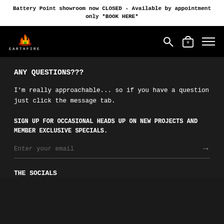Battery Point showroom now CLOSED - Available by appointment only *BOOK HERE*
[Figure (logo): Earthfire logo with flame icon and text EARTHFIRE, with search, cart (0), and menu icons on the right]
ANY QUESTIONS???
I'm really approachable... so if you have a question just click the message tab.
SIGN UP FOR OCCASIONAL HEADS UP ON NEW PROJECTS AND MEMBER EXCLUSIVE SPECIALS.
Enter your email
THE SOCIALS